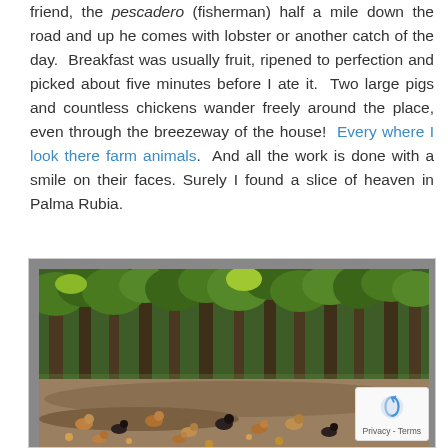friend, the pescadero (fisherman) half a mile down the road and up he comes with lobster or another catch of the day.  Breakfast was usually fruit, ripened to perfection and picked about five minutes before I ate it.  Two large pigs and countless chickens wander freely around the place, even through the breezeway of the house!  Every where I look there farm animals.  And all the work is done with a smile on their faces. Surely I found a slice of heaven in Palma Rubia.
[Figure (photo): Outdoor farm scene with chickens wandering on a dirt path surrounded by tall trees and tropical vegetation.]